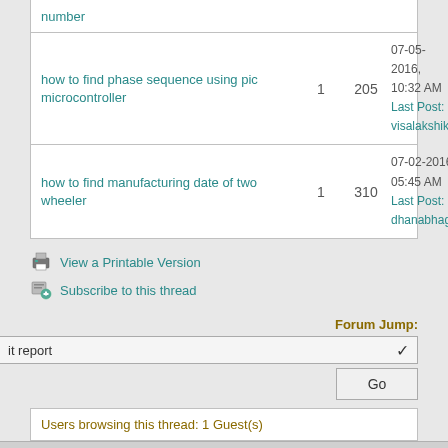| Thread Title | Replies | Views | Last Post |
| --- | --- | --- | --- |
| number |  |  |  |
| how to find phase sequence using pic microcontroller | 1 | 205 | 07-05-2016, 10:32 AM
Last Post: visalakshik |
| how to find manufacturing date of two wheeler | 1 | 310 | 07-02-2016, 05:45 AM
Last Post: dhanabhagya |
View a Printable Version
Subscribe to this thread
Forum Jump:
it report
Go
Users browsing this thread: 1 Guest(s)
Contact Us | Free Full Report Downloads (Seminar Projects) | Return to Top | Lite (Archive) Mode | RSS Syndication